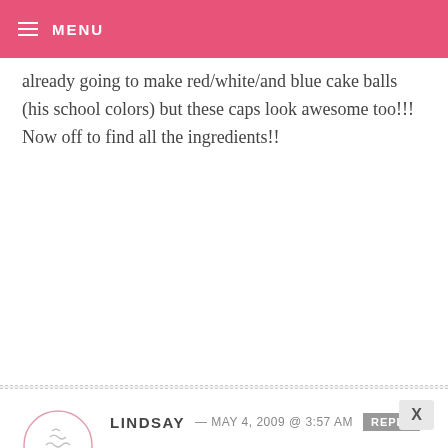MENU
already going to make red/white/and blue cake balls (his school colors) but these caps look awesome too!!! Now off to find all the ingredients!!
LINDSAY — MAY 4, 2009 @ 3:57 AM  REPLY
I wish knew someone who was graduating. There are so cute. Maybe I’ll make them for my daughters class as they will be “graduating” to 4th grade next year